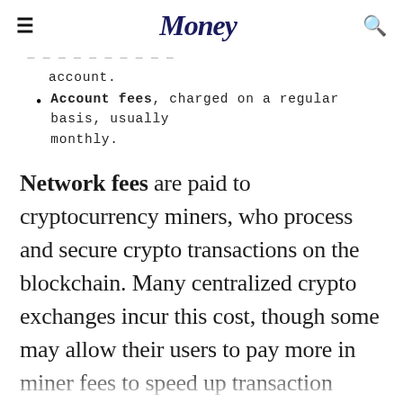Money
account.
Account fees, charged on a regular basis, usually monthly.
Network fees are paid to cryptocurrency miners, who process and secure crypto transactions on the blockchain. Many centralized crypto exchanges incur this cost, though some may allow their users to pay more in miner fees to speed up transaction speeds. Users on decentralized exchanges generally have to pay this themselves, since there is no third party